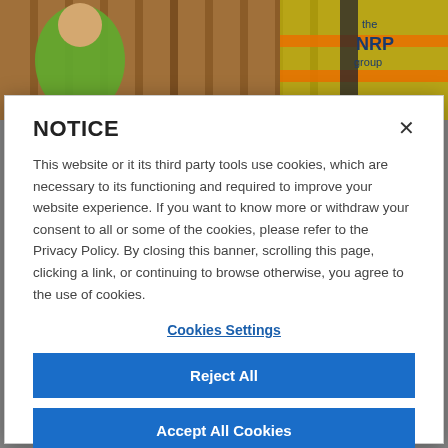[Figure (photo): Background photo showing construction workers in green shirts and a yellow/orange safety vest with 'the NRP group' logo, in front of a wooden fence.]
NOTICE
This website or it its third party tools use cookies, which are necessary to its functioning and required to improve your website experience. If you want to know more or withdraw your consent to all or some of the cookies, please refer to the Privacy Policy. By closing this banner, scrolling this page, clicking a link, or continuing to browse otherwise, you agree to the use of cookies.
Cookies Settings
Reject All
Accept All Cookies